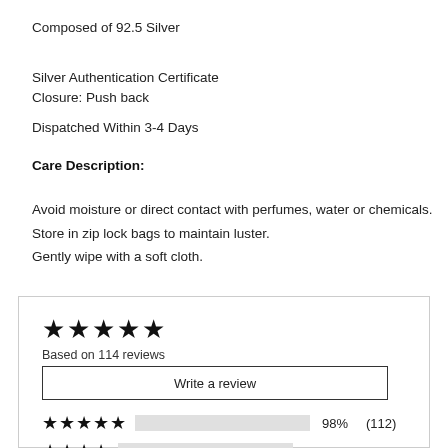Composed of 92.5 Silver
Silver Authentication Certificate
Closure: Push back
Dispatched Within 3-4 Days
Care Description:
Avoid moisture or direct contact with perfumes, water or chemicals.
Store in zip lock bags to maintain luster.
Gently wipe with a soft cloth.
★★★★★
Based on 114 reviews
Write a review
★★★★★   98%   (112)